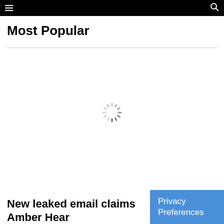Most Popular
[Figure (other): Loading spinner / circular progress indicator rendered in gray]
New leaked email claims Amber Hear
Privacy Preferences